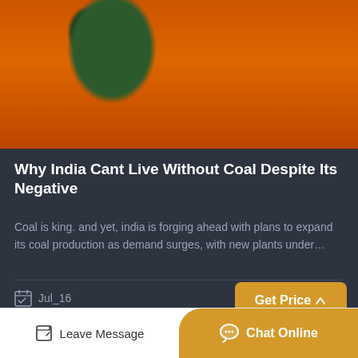[Figure (photo): Mining/construction equipment including green and orange machinery on a concrete surface with gravel and debris]
Why India Cant Live Without Coal Despite Its Negative
Coal is king. and yet, india is forging ahead with plans to expand its coal production as demand surges, with new plants under…
Jul_16
Get Price
Leave Message
Chat Online